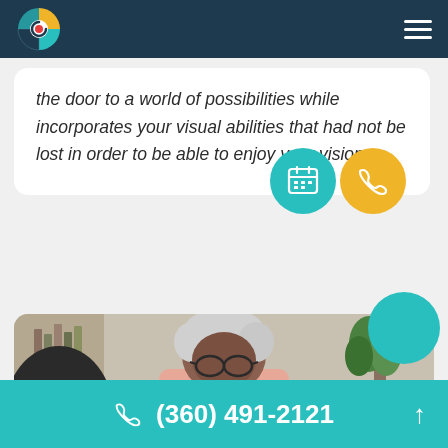Navigation bar with logo and hamburger menu
the door to a world of possibilities while incorporates your visual abilities that had not be lost in order to be able to enjoy your vision.
[Figure (screenshot): Floating teal calendar button and gold phone button overlapping the white card]
[Figure (photo): Elderly man with gray hair and glasses wearing a pink shirt, seated, looking down, with bookshelves and a plant in the background]
[Figure (other): Teal decorative circle in upper right of photo area]
(360) 491-2121